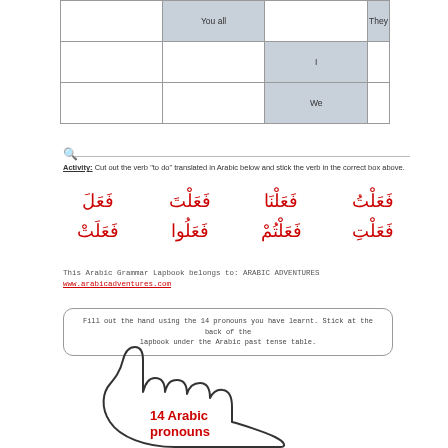|  | You all |  | They |
| --- | --- | --- | --- |
|  | You all |  | They |
|  |  | I |  |
|  |  | We |  |
Activity: Cut out the verb "to do" translated in Arabic below and stick the verb in the correct box above.
[Figure (illustration): Arabic words in red for verb conjugations: فَعَلَ فَعَلْتَ فَعَلْنَا فَعَلْتُ and فَعَلَتْ فَعَلُوا فَعَلْتُمْ فَعَلْتِ]
This Arabic Grammar Lapbook belongs to: ARABIC ADVENTURES
www.arabicadventures.com
Fill out the hand using the 14 pronouns you have learnt. Stick at the back of the lapbook under the Arabic past tense table.
[Figure (illustration): Outline drawing of an open hand with text '14 Arabic pronouns' in red inside the palm area]